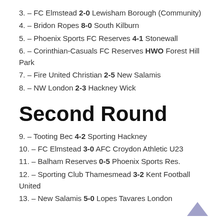3. – FC Elmstead 2-0 Lewisham Borough (Community)
4. – Bridon Ropes 8-0 South Kilburn
5. – Phoenix Sports FC Reserves 4-1 Stonewall
6. – Corinthian-Casuals FC Reserves HWO Forest Hill Park
7. – Fire United Christian 2-5 New Salamis
8. – NW London 2-3 Hackney Wick
Second Round
9. – Tooting Bec 4-2 Sporting Hackney
10. – FC Elmstead 3-0 AFC Croydon Athletic U23
11. – Balham Reserves 0-5 Phoenix Sports Res.
12. – Sporting Club Thamesmead 3-2 Kent Football United
13. – New Salamis 5-0 Lopes Tavares London